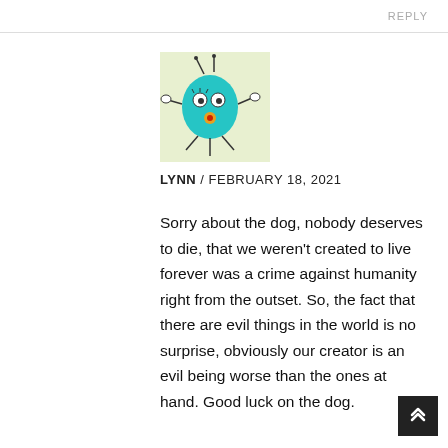REPLY
[Figure (illustration): A cartoon drawing of a teal bug-like creature with antennae, eyes, arms, and legs on a light yellow-green background]
LYNN / FEBRUARY 18, 2021
Sorry about the dog, nobody deserves to die, that we weren't created to live forever was a crime against humanity right from the outset. So, the fact that there are evil things in the world is no surprise, obviously our creator is an evil being worse than the ones at hand. Good luck on the dog.